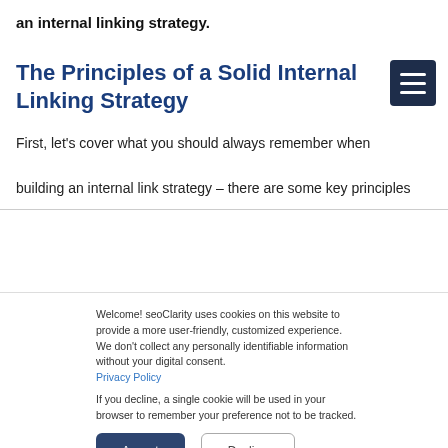an internal linking strategy.
The Principles of a Solid Internal Linking Strategy
First, let's cover what you should always remember when building an internal link strategy – there are some key principles
Welcome! seoClarity uses cookies on this website to provide a more user-friendly, customized experience. We don't collect any personally identifiable information without your digital consent. Privacy Policy

If you decline, a single cookie will be used in your browser to remember your preference not to be tracked.